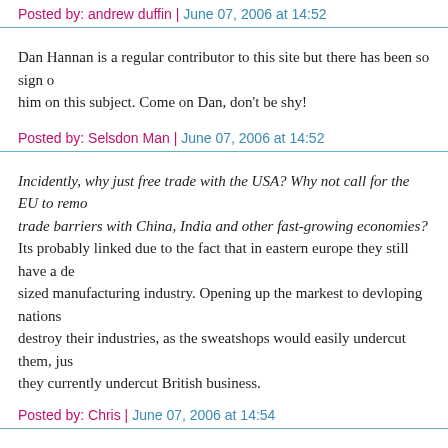Posted by: andrew duffin | June 07, 2006 at 14:52
Dan Hannan is a regular contributor to this site but there has been so sign of him on this subject. Come on Dan, don't be shy!
Posted by: Selsdon Man | June 07, 2006 at 14:52
Incidently, why just free trade with the USA? Why not call for the EU to remove trade barriers with China, India and other fast-growing economies? Its probably linked due to the fact that in eastern europe they still have a decent sized manufacturing industry. Opening up the markest to devloping nations would destroy their industries, as the sweatshops would easily undercut them, just as they currently undercut British business.
Posted by: Chris | June 07, 2006 at 14:54
"Gareth -"Cameron made his EPP pledge long before the hustings started" - the other one chum. Nobody had heard him say so."
Once again Christina, you fail to let the facts get in the way of your 'argument'. Cameron made his EPP pledge after Liam Fox made his (on 29th September...